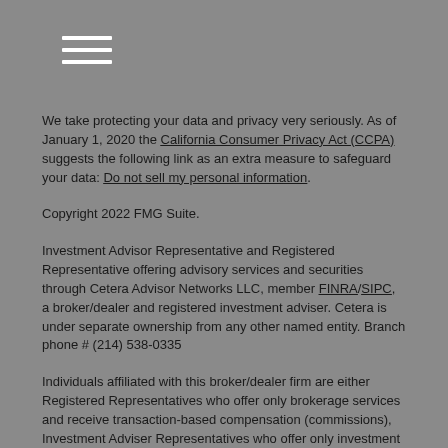[Menu icon / navigation bar]
We take protecting your data and privacy very seriously. As of January 1, 2020 the California Consumer Privacy Act (CCPA) suggests the following link as an extra measure to safeguard your data: Do not sell my personal information.
Copyright 2022 FMG Suite.
Investment Advisor Representative and Registered Representative offering advisory services and securities through Cetera Advisor Networks LLC, member FINRA/SIPC, a broker/dealer and registered investment adviser. Cetera is under separate ownership from any other named entity. Branch phone # (214) 538-0335
Individuals affiliated with this broker/dealer firm are either Registered Representatives who offer only brokerage services and receive transaction-based compensation (commissions), Investment Adviser Representatives who offer only investment advisory services and receive fees based on assets, or both Registered Representatives and Investment Adviser Representatives, who can offer both types of services.
This site is published for residents of the United States only. Registered Representatives of Cetera Advisor Networks LLC may only conduct business with residents of the states and/or jurisdictions in which they are properly registered. Not all of the products and services referenced on this site may be available in every state and through every representative listed. For additional information please contact the representative(s) listed on the site, visit the Cetera Advisor Networks